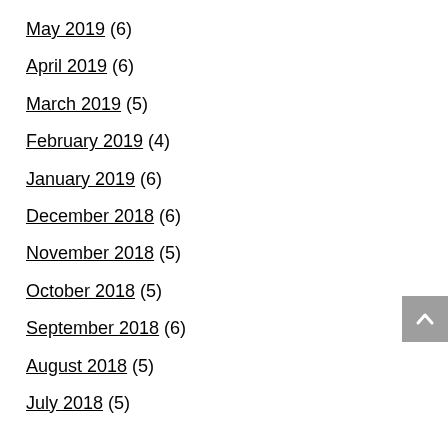May 2019 (6)
April 2019 (6)
March 2019 (5)
February 2019 (4)
January 2019 (6)
December 2018 (6)
November 2018 (5)
October 2018 (5)
September 2018 (6)
August 2018 (5)
July 2018 (5)